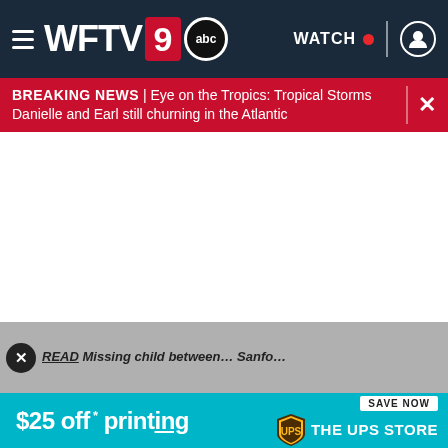WFTV 9 abc — WATCH
BREAKING NEWS | Eye on the Tropics: Tropical Storms Danielle and Earl still churning in the Atlantic
[Figure (screenshot): White empty content area (ad or video placeholder)]
READ... Missing child between... Sanfo...
[Figure (infographic): UPS Store advertisement banner: $25 off printing. SAVE NOW. THE UPS STORE.]